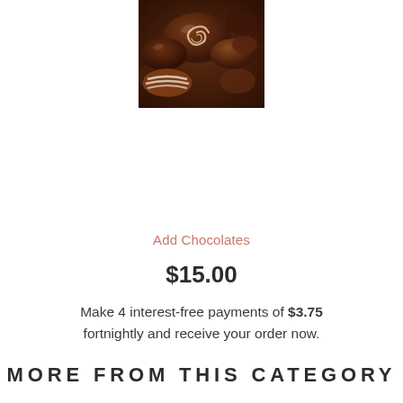[Figure (photo): Close-up photo of assorted dark and milk chocolate pralines/truffles]
Add Chocolates
$15.00
Make 4 interest-free payments of $3.75 fortnightly and receive your order now.
MORE FROM THIS CATEGORY